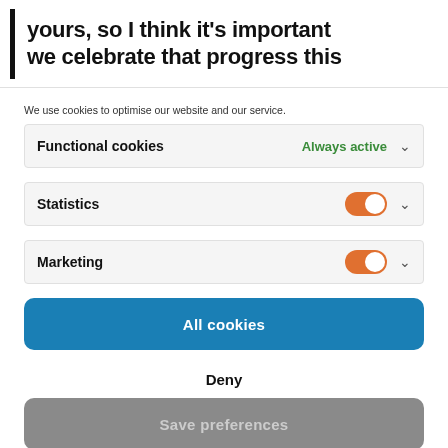yours, so I think it's important we celebrate that progress this
We use cookies to optimise our website and our service.
Functional cookies — Always active
Statistics
Marketing
All cookies
Deny
Save preferences